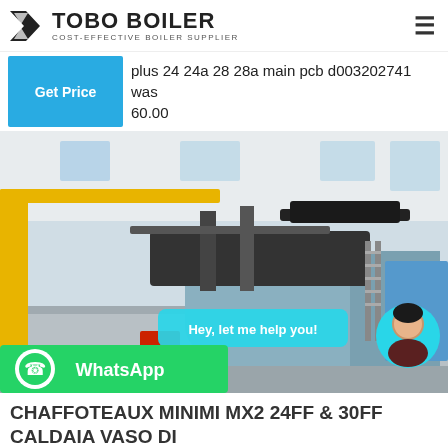TOBO BOILER — COST-EFFECTIVE BOILER SUPPLIER
plus 24 24a 28 28a main pcb d003202741 was 60.00
[Figure (photo): Industrial boiler inside a factory building with yellow crane structure, dark metal boiler unit, pipes, and chat overlay saying 'Hey, let me help you!' with an avatar and WhatsApp button]
CHAFFOTEAUX MINIMI MX2 24FF & 30FF CALDAIA VASO DI